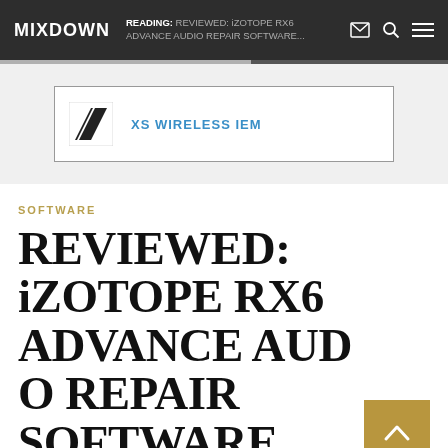MIXDOWN | READING: REVIEWED: iZOTOPE RX6 ADVANCE AUDIO REPAIR SOFTWARE...
[Figure (logo): Advertisement box with Sennheiser slash logo and text 'XS WIRELESS IEM' in blue]
SOFTWARE
REVIEWED: iZOTOPE RX6 ADVANCE AUDIO REPAIR SOFTWARE